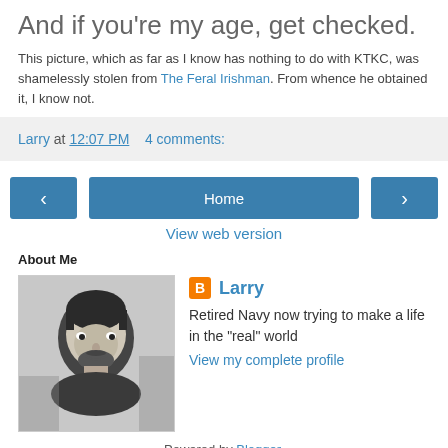And if you're my age, get checked.
This picture, which as far as I know has nothing to do with KTKC, was shamelessly stolen from The Feral Irishman. From whence he obtained it, I know not.
Larry at 12:07 PM   4 comments:
< Home >
View web version
About Me
[Figure (photo): Black and white photo of a man, appears to be a profile/headshot used for the blogger named Larry]
Larry
Retired Navy now trying to make a life in the "real" world
View my complete profile
Powered by Blogger.